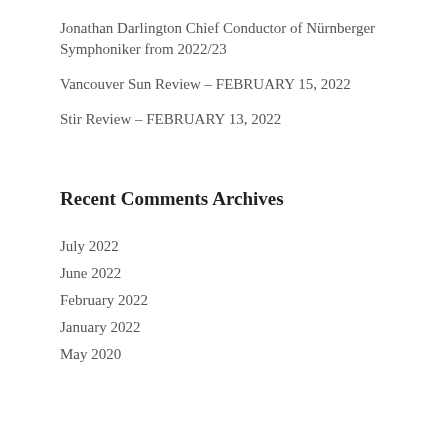Jonathan Darlington Chief Conductor of Nürnberger Symphoniker from 2022/23
Vancouver Sun Review – FEBRUARY 15, 2022
Stir Review – FEBRUARY 13, 2022
Recent Comments
Archives
July 2022
June 2022
February 2022
January 2022
May 2020